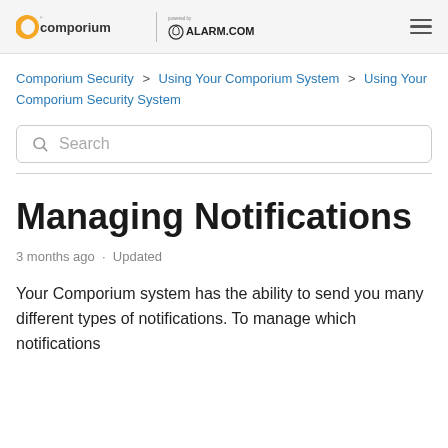Comporium | powered by ALARM.COM
Comporium Security > Using Your Comporium System > Using Your Comporium Security System
Search
Managing Notifications
3 months ago · Updated
Your Comporium system has the ability to send you many different types of notifications. To manage which notifications